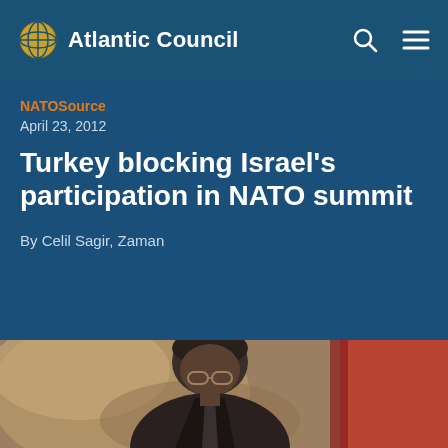Atlantic Council
NATOSource
April 23, 2012
Turkey blocking Israel's participation in NATO summit
By Celil Sagir, Zaman
[Figure (photo): A man wearing glasses and a dark suit, photographed from chest up, with a red flag visible in the background. The photo has a shallow depth of field with a warm, blurred background.]